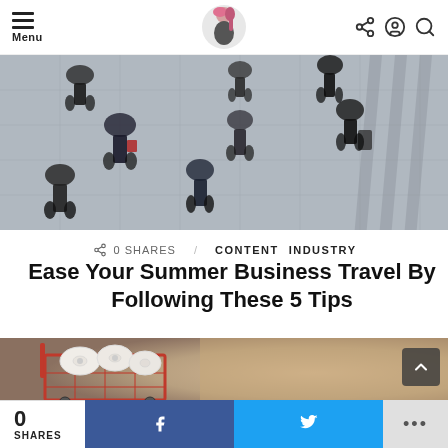Menu | Logo | Share/User/Search icons
[Figure (photo): Aerial view of people walking on a tiled floor, blurred motion, black and white tones]
0 SHARES   CONTENT   INDUSTRY
Ease Your Summer Business Travel By Following These 5 Tips
[Figure (photo): Shopping cart filled with toilet paper rolls, blurred warm background]
0 SHARES  [Facebook share button]  [Twitter share button]  [More options]